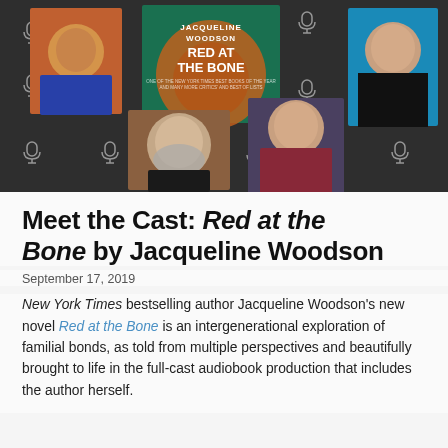[Figure (photo): Collage of cast member photos and book cover on dark background with microphone icons. Shows author photo (woman in orange top), book cover for 'Red at the Bone' by Jacqueline Woodson, woman with blue background (right top), man with gray beard (bottom left), and woman in maroon top (bottom center-right). Multiple microphone icons fill the dark grid background.]
Meet the Cast: Red at the Bone by Jacqueline Woodson
September 17, 2019
New York Times bestselling author Jacqueline Woodson's new novel Red at the Bone is an intergenerational exploration of familial bonds, as told from multiple perspectives and beautifully brought to life in the full-cast audiobook production that includes the author herself.